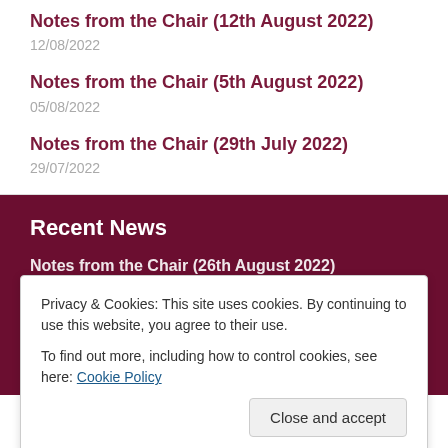Notes from the Chair (12th August 2022)
12/08/2022
Notes from the Chair (5th August 2022)
05/08/2022
Notes from the Chair (29th July 2022)
29/07/2022
Recent News
Notes from the Chair (26th August 2022)
Privacy & Cookies: This site uses cookies. By continuing to use this website, you agree to their use.
To find out more, including how to control cookies, see here: Cookie Policy
1st XI